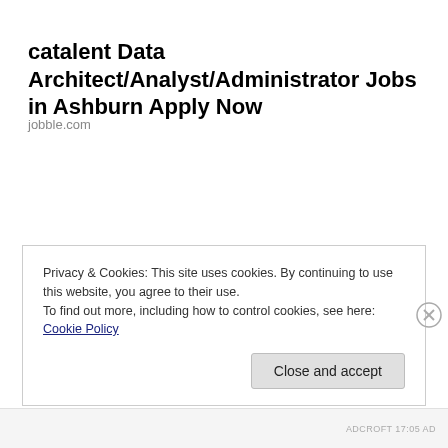catalent Data Architect/Analyst/Administrator Jobs in Ashburn Apply Now
jobble.com
Privacy & Cookies: This site uses cookies. By continuing to use this website, you agree to their use.
To find out more, including how to control cookies, see here: Cookie Policy
Close and accept
ADCROFT 17:05 AD